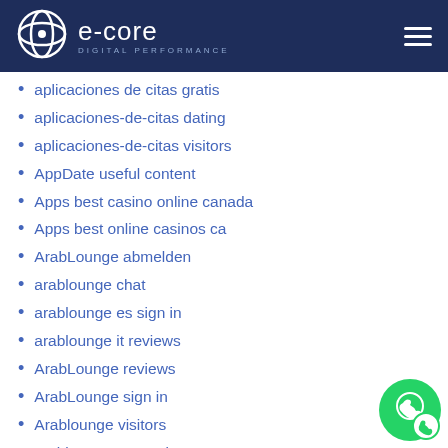e-core DIGITAL PERFORMANCE
aplicaciones de citas gratis
aplicaciones-de-citas dating
aplicaciones-de-citas visitors
AppDate useful content
Apps best casino online canada
Apps best online casinos ca
ArabLounge abmelden
arablounge chat
arablounge es sign in
arablounge it reviews
ArabLounge reviews
ArabLounge sign in
Arablounge visitors
arablounge_NL reviews
arablounge-inceleme reviews
arablounge-inceleme visitors
arablounge-overzicht MOBILE
arablounge-overzicht online dating
ardent eksi
ardent it reviews
ardent pl reviews
[Figure (illustration): WhatsApp contact button icon (green circle with chat/phone logo) in the bottom right corner]